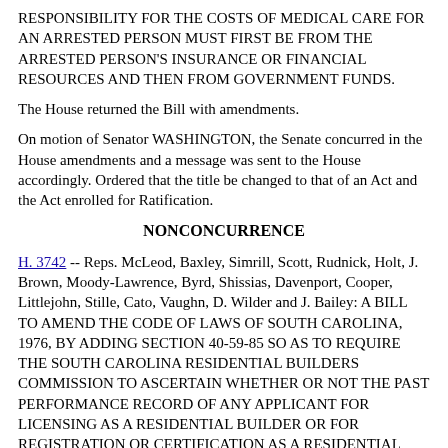RESPONSIBILITY FOR THE COSTS OF MEDICAL CARE FOR AN ARRESTED PERSON MUST FIRST BE FROM THE ARRESTED PERSON'S INSURANCE OR FINANCIAL RESOURCES AND THEN FROM GOVERNMENT FUNDS.
The House returned the Bill with amendments.
On motion of Senator WASHINGTON, the Senate concurred in the House amendments and a message was sent to the House accordingly. Ordered that the title be changed to that of an Act and the Act enrolled for Ratification.
NONCONCURRENCE
H. 3742 -- Reps. McLeod, Baxley, Simrill, Scott, Rudnick, Holt, J. Brown, Moody-Lawrence, Byrd, Shissias, Davenport, Cooper, Littlejohn, Stille, Cato, Vaughn, D. Wilder and J. Bailey: A BILL TO AMEND THE CODE OF LAWS OF SOUTH CAROLINA, 1976, BY ADDING SECTION 40-59-85 SO AS TO REQUIRE THE SOUTH CAROLINA RESIDENTIAL BUILDERS COMMISSION TO ASCERTAIN WHETHER OR NOT THE PAST PERFORMANCE RECORD OF ANY APPLICANT FOR LICENSING AS A RESIDENTIAL BUILDER OR FOR REGISTRATION OR CERTIFICATION AS A RESIDENTIAL SPECIALTY CONTRACTOR IS GOOD AND TO ASCERTAIN CERTAIN OTHER INFORMATION ABOUT SUCH